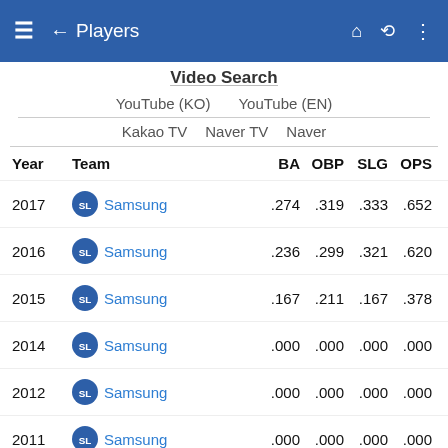Players
Video Search
YouTube (KO)   YouTube (EN)
Kakao TV   Naver TV   Naver
| Year | Team | BA | OBP | SLG | OPS | G | PA | A |
| --- | --- | --- | --- | --- | --- | --- | --- | --- |
| 2017 | Samsung | .274 | .319 | .333 | .652 | 31 | 91 | 8 |
| 2016 | Samsung | .236 | .299 | .321 | .620 | 46 | 118 | 1 |
| 2015 | Samsung | .167 | .211 | .167 | .378 | 17 | 20 | 1 |
| 2014 | Samsung | .000 | .000 | .000 | .000 | 2 | 5 | 5 |
| 2012 | Samsung | .000 | .000 | .000 | .000 | 2 |  | 2 |
| 2011 | Samsung | .000 | .000 | .000 | .000 | 3 | 2 | 2 |
| Career |  | .237 | .291 | .302 | .593 | 99 | 236 | 2 |